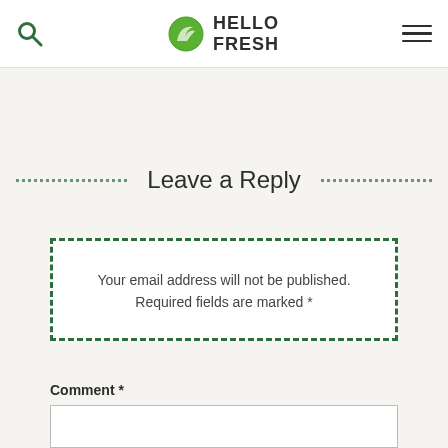HelloFresh navigation header with search icon, HelloFresh logo, and hamburger menu
Leave a Reply
Your email address will not be published. Required fields are marked *
Comment *